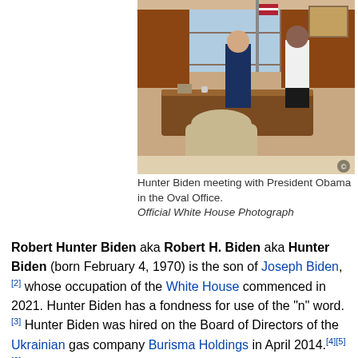[Figure (photo): Hunter Biden meeting with President Obama in the Oval Office. Two men stand near the Resolute Desk with an American flag in background.]
Hunter Biden meeting with President Obama in the Oval Office.
Official White House Photograph
Robert Hunter Biden aka Robert H. Biden aka Hunter Biden (born February 4, 1970) is the son of Joseph Biden,[2] whose occupation of the White House commenced in 2021. Hunter Biden has a fondness for use of the "n" word.[3] Hunter Biden was hired on the Board of Directors of the Ukrainian gas company Burisma Holdings in April 2014.[4][5][6] Biden, who weeks earlier was thrown out of the U.S. Navy for narcotics abuse, was paid over $50,000